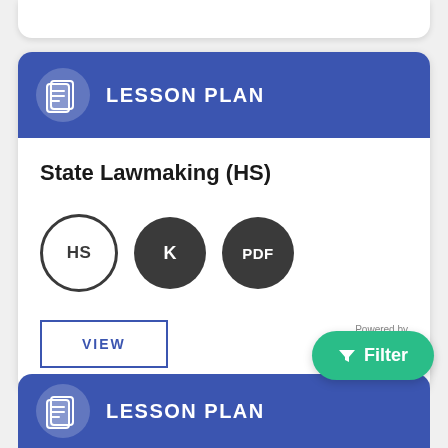LESSON PLAN
State Lawmaking (HS)
[Figure (logo): Three badges: HS circle badge (dark outline), K dark circle badge, PDF dark circle badge]
VIEW
[Figure (logo): Powered by Kami logo]
Filter
LESSON PLAN